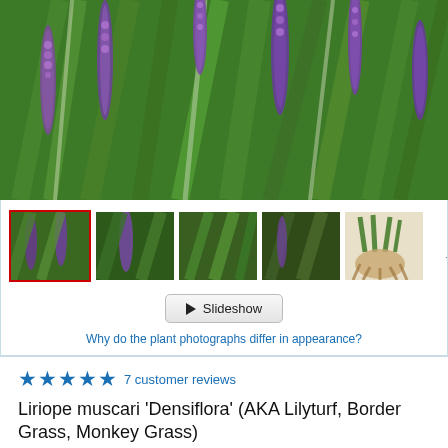[Figure (photo): Large photo of Liriope muscari Densiflora plant with purple flower spikes and green grass-like foliage]
[Figure (photo): Row of thumbnail images of the plant from different angles, with selected first thumbnail highlighted in red border, followed by four photo thumbnails and three placeholder thumbnails labeled 'Thumbnail']
▶ Slideshow
Why do the plant photographs differ in appearance?
★★★★★ 7 customer reviews
Liriope muscari 'Densiflora' (AKA Lilyturf, Border Grass, Monkey Grass)
Pronunciation: lih-RY-oh-pee muss-KAR-ee
Product: 7362